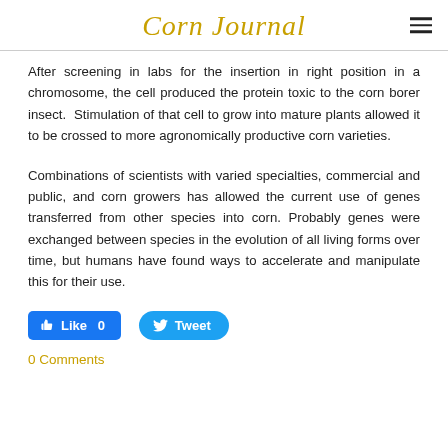Corn Journal
After screening in labs for the insertion in right position in a chromosome, the cell produced the protein toxic to the corn borer insect.  Stimulation of that cell to grow into mature plants allowed it to be crossed to more agronomically productive corn varieties.
Combinations of scientists with varied specialties, commercial and public, and corn growers has allowed the current use of genes transferred from other species into corn. Probably genes were exchanged between species in the evolution of all living forms over time, but humans have found ways to accelerate and manipulate this for their use.
[Figure (infographic): Social media buttons: blue Facebook Like button showing '0' likes, and blue rounded Twitter Tweet button]
0 Comments